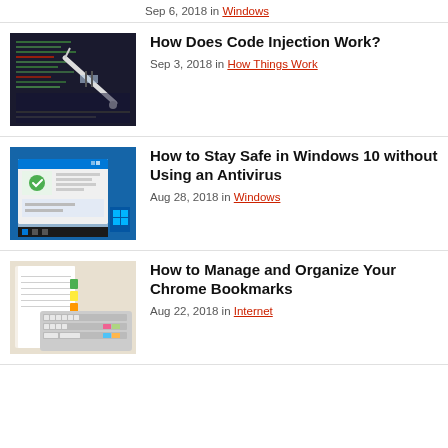Sep 6, 2018 in Windows
[Figure (photo): Terminal/code with syringe overlay representing code injection]
How Does Code Injection Work?
Sep 3, 2018 in How Things Work
[Figure (screenshot): Windows 10 security settings screenshot]
How to Stay Safe in Windows 10 without Using an Antivirus
Aug 28, 2018 in Windows
[Figure (photo): Keyboard and notebook photo for Chrome bookmarks article]
How to Manage and Organize Your Chrome Bookmarks
Aug 22, 2018 in Internet